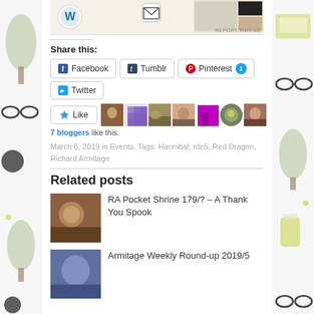[Figure (screenshot): Top ad banner area with WordPress logo and envelope icon on beige background, with magazine-style images on right side. 'REPORT THIS AD' text in bottom right.]
Share this:
Facebook  Tumblr  Pinterest 1  Twitter
[Figure (infographic): Like button with star icon, followed by 7 blogger avatar thumbnails]
7 bloggers like this.
March 6, 2019 in Events. Tags: Hannibal, rdc5, Red Dragon, Richard Armitage
Related posts
[Figure (photo): Thumbnail image for RA Pocket Shrine post]
RA Pocket Shrine 179/? – A Thank You Spook
[Figure (photo): Thumbnail image for Armitage Weekly Round-up post]
Armitage Weekly Round-up 2019/5